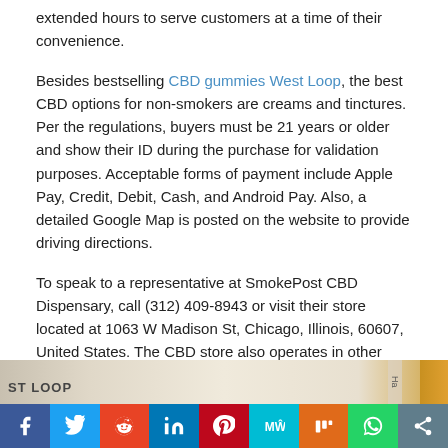extended hours to serve customers at a time of their convenience.
Besides bestselling CBD gummies West Loop, the best CBD options for non-smokers are creams and tinctures. Per the regulations, buyers must be 21 years or older and show their ID during the purchase for validation purposes. Acceptable forms of payment include Apple Pay, Credit, Debit, Cash, and Android Pay. Also, a detailed Google Map is posted on the website to provide driving directions.
To speak to a representative at SmokePost CBD Dispensary, call (312) 409-8943 or visit their store located at 1063 W Madison St, Chicago, Illinois, 60607, United States. The CBD store also operates in other locations around town, such as Wicker Park, Bucktown, Boystown, and Dunning.
[Figure (map): Partial street map showing 'ST LOOP' label area with grid streets and a yellow/orange strip on the right edge]
[Figure (infographic): Social media sharing bar with buttons: Facebook, Twitter, Reddit, LinkedIn, Pinterest, MeWe, Mix, WhatsApp, Share]